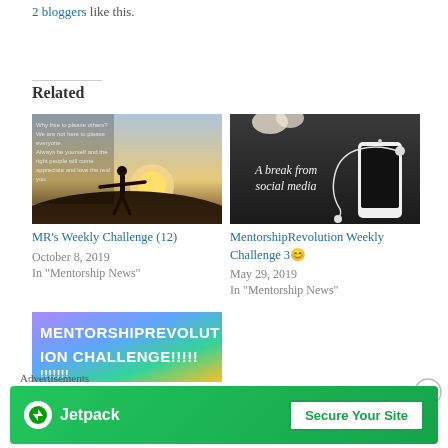2 bloggers like this.
Related
[Figure (photo): Silhouette of person with arms outstretched on hilltop at sunset, with text overlay about being yourself]
MR’s Weekly Challenge (12)
October 8, 2019
In “Mentorship News”
[Figure (photo): Dark background with phone and earphones, text reads 'A break from social media']
MentorshipRevolution Weekly Challenge 3😄
May 29, 2019
In “Mentorship News”
[Figure (photo): Colorful text image reading MENTORSHIPREVOLUTION CHALLENGE!!!!!!!!!!!]
Advertisements
[Figure (screenshot): Jetpack advertisement banner - green background with Jetpack logo and 'Secure Your Site' button]